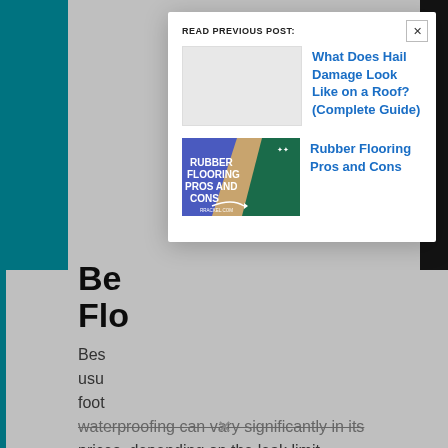Be Flo
Bes usu foot waterproofing can vary significantly in its prices, depending on the leak limit.
READ PREVIOUS POST:
[Figure (screenshot): Thumbnail image placeholder (gray) for hail damage article]
What Does Hail Damage Look Like on a Roof? (Complete Guide)
[Figure (illustration): Rubber Flooring Pros and Cons article thumbnail with blue and green background and white bold text]
Rubber Flooring Pros and Cons